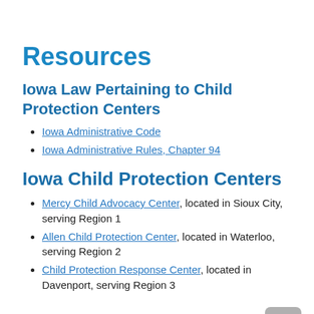Resources
Iowa Law Pertaining to Child Protection Centers
Iowa Administrative Code
Iowa Administrative Rules, Chapter 94
Iowa Child Protection Centers
Mercy Child Advocacy Center, located in Sioux City, serving Region 1
Allen Child Protection Center, located in Waterloo, serving Region 2
Child Protection Response Center, located in Davenport, serving Region 3